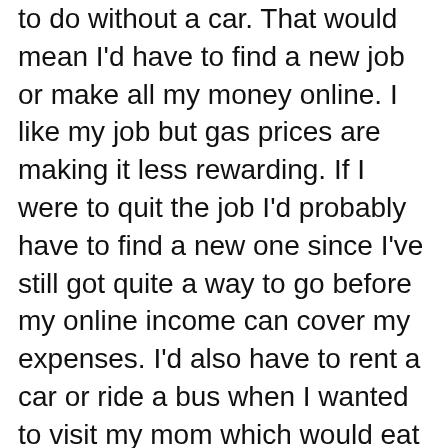to do without a car.  That would mean I'd have to find a new job or make all my money online.  I like my job but gas prices are making it less rewarding.  If I were to quit the job I'd probably have to find a new one since I've still got quite a way to go before my online income can cover my expenses.  I'd also have to rent a car or ride a bus when I wanted to visit my mom which would eat up some of the money saved by not having a car.
It does look like I could get by without a car.  Most likely I'll choose to live in a van rather than go without a car though.  This is simply because I like the freedom of being able to get in my vehicle and go. That isn't a financial reason but sometimes the personal